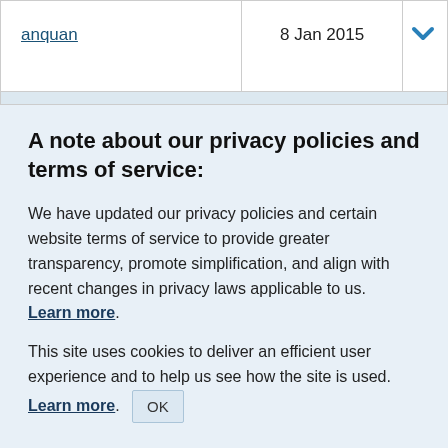| Name | Date |  |
| --- | --- | --- |
| anquan | 8 Jan 2015 | ▾ |
A note about our privacy policies and terms of service:
We have updated our privacy policies and certain website terms of service to provide greater transparency, promote simplification, and align with recent changes in privacy laws applicable to us. Learn more.
This site uses cookies to deliver an efficient user experience and to help us see how the site is used. Learn more. OK